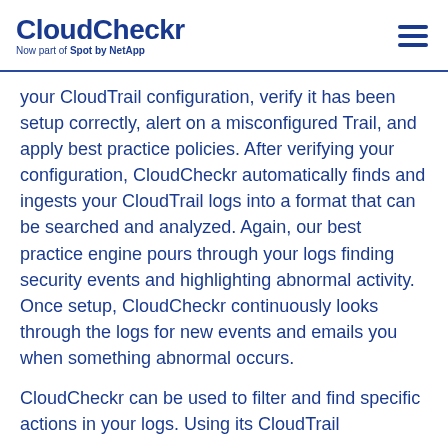CloudCheckr — Now part of Spot by NetApp
your CloudTrail configuration, verify it has been setup correctly, alert on a misconfigured Trail, and apply best practice policies. After verifying your configuration, CloudCheckr automatically finds and ingests your CloudTrail logs into a format that can be searched and analyzed. Again, our best practice engine pours through your logs finding security events and highlighting abnormal activity. Once setup, CloudCheckr continuously looks through the logs for new events and emails you when something abnormal occurs.
CloudCheckr can be used to filter and find specific actions in your logs. Using its CloudTrail